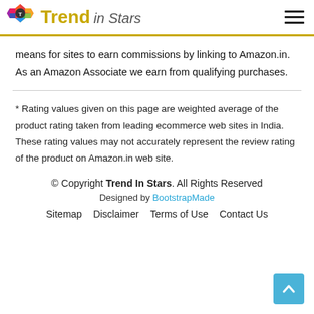Trend in Stars
means for sites to earn commissions by linking to Amazon.in. As an Amazon Associate we earn from qualifying purchases.
* Rating values given on this page are weighted average of the product rating taken from leading ecommerce web sites in India. These rating values may not accurately represent the review rating of the product on Amazon.in web site.
© Copyright Trend In Stars. All Rights Reserved
Designed by BootstrapMade
Sitemap  Disclaimer  Terms of Use  Contact Us